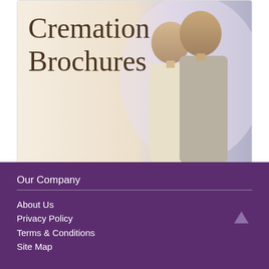[Figure (photo): Card showing elderly couple smiling on a warm background with text 'Cremation Brochures' in serif font]
Download Brochures ▶
Our Company
About Us
Privacy Policy
Terms & Conditions
Site Map